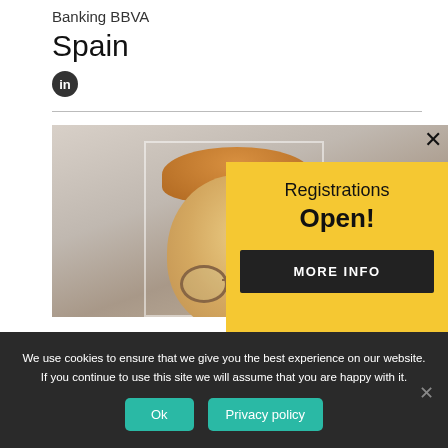Banking BBVA
Spain
[Figure (logo): LinkedIn circular icon with 'in' logo]
[Figure (photo): Person with reddish-blonde hair and round glasses, close-up portrait photo]
[Figure (infographic): Yellow popup overlay with text 'Registrations Open!' and a dark 'MORE INFO' button, plus an X close button]
We use cookies to ensure that we give you the best experience on our website. If you continue to use this site we will assume that you are happy with it.
Ok
Privacy policy